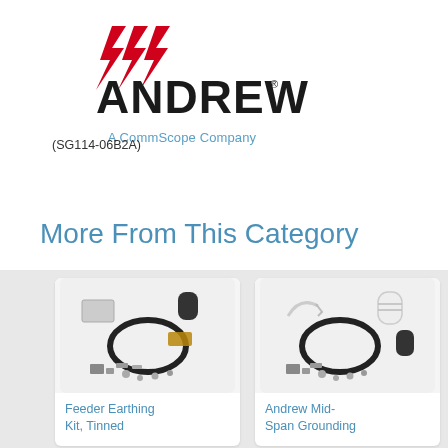[Figure (logo): Andrew logo with red lightning bolt marks and the text ANDREW in bold black, with tagline 'A CommScope Company' in blue below]
(SG114-06B2A)
More From This Category
[Figure (photo): Feeder Earthing Kit product photo showing cable, rubber mounts, screws and accessories]
[Figure (photo): Andrew Mid-Span Grounding product photo showing cable, cylinder component, screws and accessories]
Feeder Earthing Kit, Tinned
Andrew Mid-Span Grounding